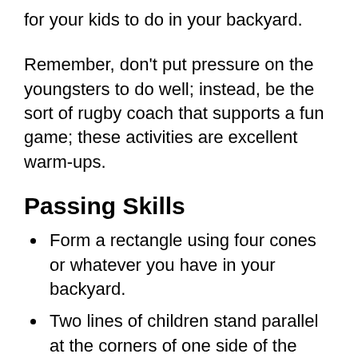for your kids to do in your backyard.
Remember, don't put pressure on the youngsters to do well; instead, be the sort of rugby coach that supports a fun game; these activities are excellent warm-ups.
Passing Skills
Form a rectangle using four cones or whatever you have in your backyard.
Two lines of children stand parallel at the corners of one side of the rectangle, with one kid standing parallel at each cone on the opposite side.
First, the two children at the head of each line go in together, passing